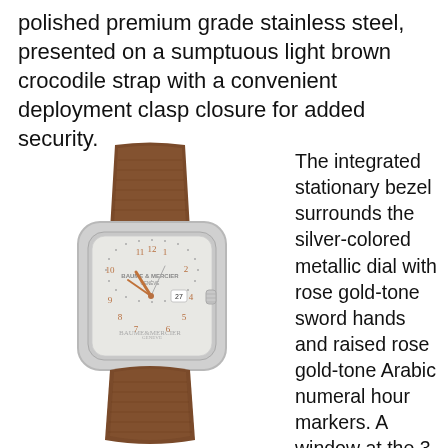polished premium grade stainless steel, presented on a sumptuous light brown crocodile strap with a convenient deployment clasp closure for added security.
[Figure (photo): A Baume & Mercier rectangular watch with a silver-colored metallic dial, rose gold-tone sword hands and Arabic numeral hour markers, on a light brown crocodile leather strap with deployment clasp.]
The integrated stationary bezel surrounds the silver-colored metallic dial with rose gold-tone sword hands and raised rose gold-tone Arabic numeral hour markers. A window at the 3 o'clock hour reveals the automatic date